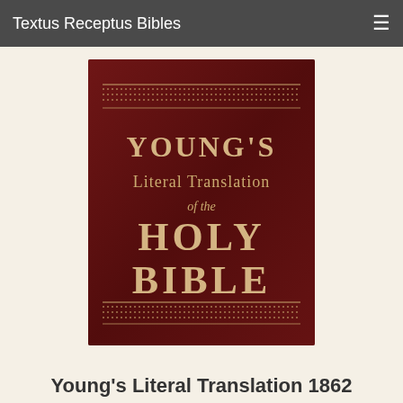Textus Receptus Bibles
[Figure (illustration): Book cover of Young's Literal Translation of the Holy Bible — dark maroon/burgundy leather-look cover with gold lettering showing YOUNG'S Literal Translation of the HOLY BIBLE, with decorative dot borders at top and bottom]
Young's Literal Translation 1862